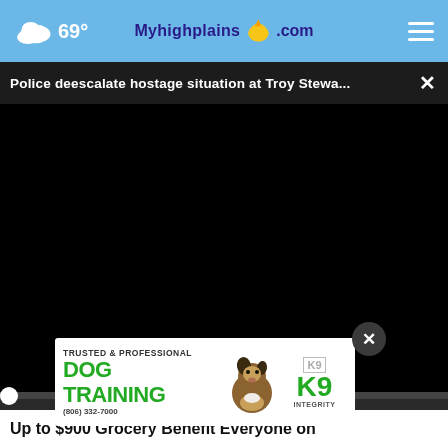69° Myhighplains.com
Police deescalate hostage situation at Troy Stewa... ×
[Figure (screenshot): Black video player with progress bar at 00:00, play button, mute button, timestamp, captions button, and fullscreen button]
[Figure (infographic): Advertisement: TRUSTED & PROFESSIONAL DOG TRAINING (806) 332-7000 with K9 Integrity logo and dog photo]
Up to $900 Grocery Benefit Everyone on